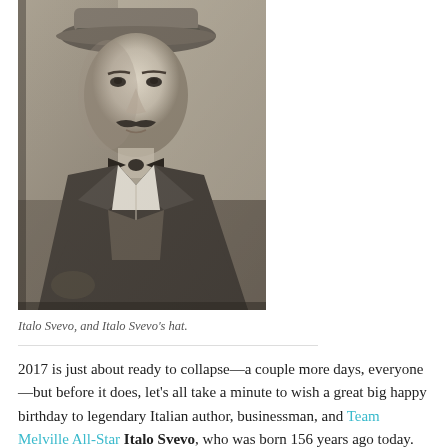[Figure (photo): Black and white photograph of Italo Svevo wearing a hat and bow tie, seated, looking at the camera.]
Italo Svevo, and Italo Svevo's hat.
2017 is just about ready to collapse—a couple more days, everyone—but before it does, let's all take a minute to wish a great big happy birthday to legendary Italian author, businessman, and Team Melville All-Star Italo Svevo, who was born 156 years ago today.
Svevo was born Aron Ettore Schmitz in Trieste—then